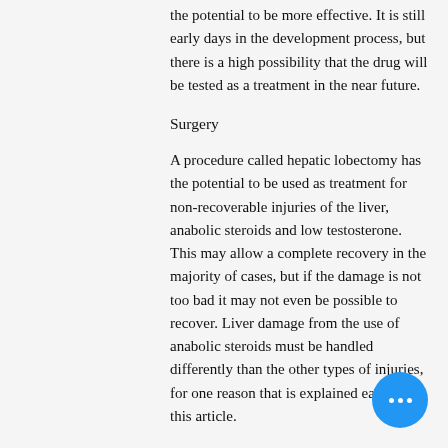the potential to be more effective. It is still early days in the development process, but there is a high possibility that the drug will be tested as a treatment in the near future.
Surgery
A procedure called hepatic lobectomy has the potential to be used as treatment for non-recoverable injuries of the liver, anabolic steroids and low testosterone. This may allow a complete recovery in the majority of cases, but if the damage is not too bad it may not even be possible to recover. Liver damage from the use of anabolic steroids must be handled differently than the other types of injuries, for one reason that is explained earlier in this article.
Treatment consists for the liver of removing the damaged tissue in an attempt at returning it to normal shape. The surgical